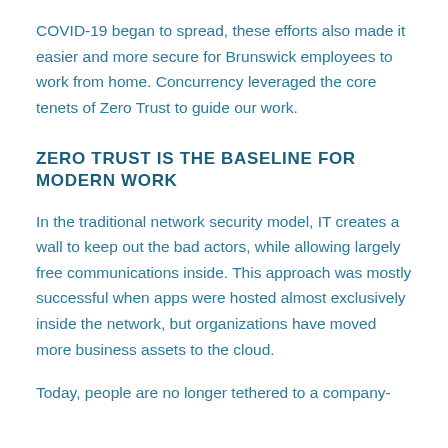COVID-19 began to spread, these efforts also made it easier and more secure for Brunswick employees to work from home. Concurrency leveraged the core tenets of Zero Trust to guide our work.
ZERO TRUST IS THE BASELINE FOR MODERN WORK
In the traditional network security model, IT creates a wall to keep out the bad actors, while allowing largely free communications inside. This approach was mostly successful when apps were hosted almost exclusively inside the network, but organizations have moved more business assets to the cloud.
Today, people are no longer tethered to a company-